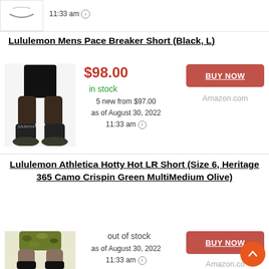[Figure (photo): Amazon product thumbnail image (partially visible, black background with Amazon smile logo)]
11:33 am
Lululemon Mens Pace Breaker Short (Black, L)
[Figure (photo): Product photo of Lululemon Mens Pace Breaker Short in black, shown on a male model from waist down]
$98.00
in stock
5 new from $97.00
as of August 30, 2022
11:33 am
BUY NOW
Amazon.com
Lululemon Athletica Hotty Hot LR Short (Size 6, Heritage 365 Camo Crispin Green MultiMedium Olive)
[Figure (photo): Product photo of Lululemon Athletica Hotty Hot LR Short in camo green pattern, shown on a female model from waist down]
out of stock
as of August 30, 2022
11:33 am
BUY NOW
Amazon.co